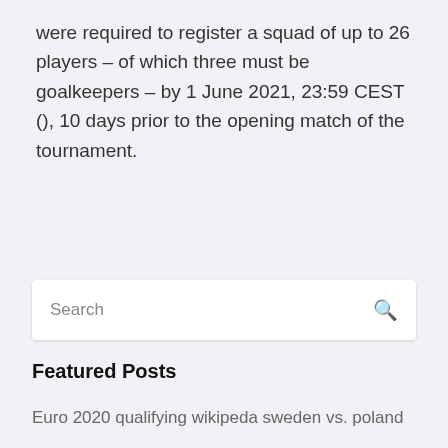were required to register a squad of up to 26 players – of which three must be goalkeepers – by 1 June 2021, 23:59 CEST (), 10 days prior to the opening match of the tournament.
Search
Featured Posts
Euro 2020 qualifying wikipeda sweden vs. poland